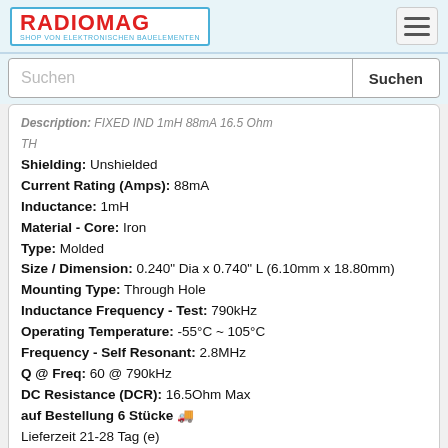RADIOMAG - SHOP VON ELEKTRONISCHEN BAUELEMENTEN
Description: FIXED IND 1mH 88mA 16.5 Ohm TH
Shielding: Unshielded
Current Rating (Amps): 88mA
Inductance: 1mH
Material - Core: Iron
Type: Molded
Size / Dimension: 0.240" Dia x 0.740" L (6.10mm x 18.80mm)
Mounting Type: Through Hole
Inductance Frequency - Test: 790kHz
Operating Temperature: -55°C ~ 105°C
Frequency - Self Resonant: 2.8MHz
Q @ Freq: 60 @ 790kHz
DC Resistance (DCR): 16.5Ohm Max
auf Bestellung 6 Stücke
Lieferzeit 21-28 Tag (e)
108-123K
Hersteller: API Delevan Inc.